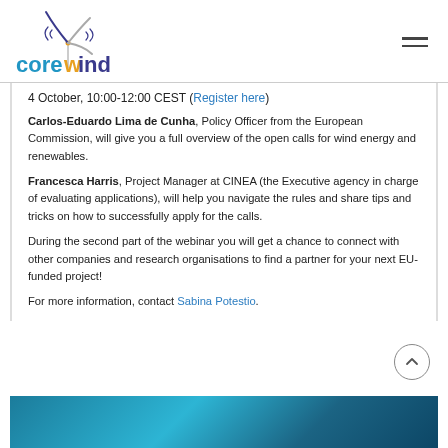[Figure (logo): COREWIND logo with wind turbine graphic and blue/orange text]
4 October, 10:00-12:00 CEST (Register here)
Carlos-Eduardo Lima de Cunha, Policy Officer from the European Commission, will give you a full overview of the open calls for wind energy and renewables.
Francesca Harris, Project Manager at CINEA (the Executive agency in charge of evaluating applications), will help you navigate the rules and share tips and tricks on how to successfully apply for the calls.
During the second part of the webinar you will get a chance to connect with other companies and research organisations to find a partner for your next EU-funded project!
For more information, contact Sabina Potestio.
[Figure (photo): Blue tinted photo of glass building facade at bottom of page]